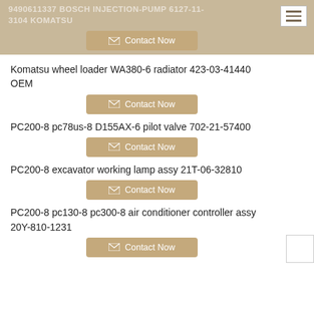9490611337 BOSCH INJECTION-PUMP 6127-11-3104 KOMATSU
Komatsu wheel loader WA380-6 radiator 423-03-41440 OEM
Contact Now
PC200-8 pc78us-8 D155AX-6 pilot valve 702-21-57400
Contact Now
PC200-8 excavator working lamp assy 21T-06-32810
Contact Now
PC200-8 pc130-8 pc300-8 air conditioner controller assy 20Y-810-1231
Contact Now